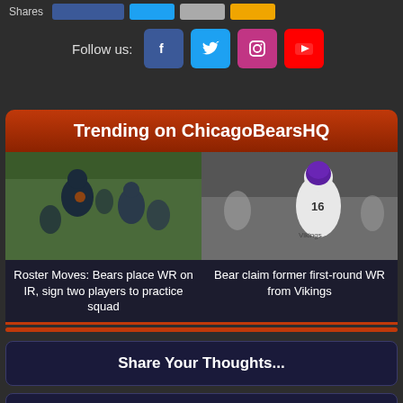Shares
Follow us:
Trending on ChicagoBearsHQ
[Figure (photo): Chicago Bears players in practice, receiver catching ball]
Roster Moves: Bears place WR on IR, sign two players to practice squad
[Figure (photo): Minnesota Vikings wide receiver running with ball in white uniform and purple helmet]
Bear claim former first-round WR from Vikings
Share Your Thoughts...
Position Grades after Bears win over Giants